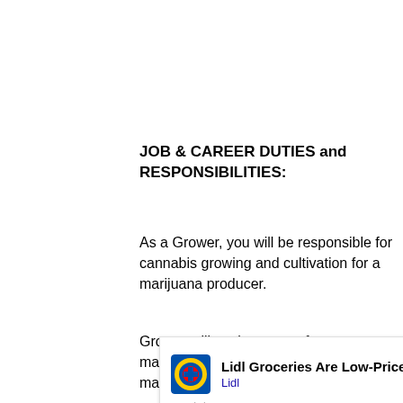JOB & CAREER DUTIES and RESPONSIBILITIES:
As a Grower, you will be responsible for cannabis growing and cultivation for a marijuana producer.
Grower will work as part of a team to manage a state-of-the art marijuana/cannabis p
[Figure (other): Advertisement overlay for Lidl Groceries with logo, title 'Lidl Groceries Are Low-Price', subtitle 'Lidl', blue arrow navigation icon, play and close controls]